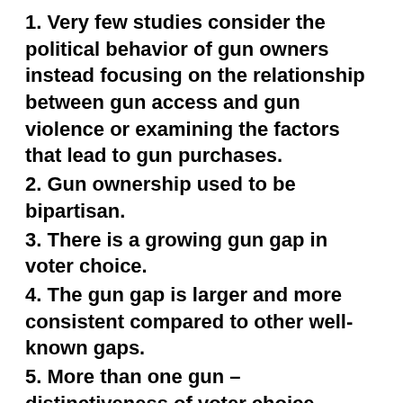1. Very few studies consider the political behavior of gun owners instead focusing on the relationship between gun access and gun violence or examining the factors that lead to gun purchases.
2. Gun ownership used to be bipartisan.
3. There is a growing gun gap in voter choice.
4. The gun gap is larger and more consistent compared to other well-known gaps.
5. More than one gun – distinctiveness of voter choice – increases with the number of guns owned.
6. There is a gun gap in voter turnout. In 2016 75% of gun owners reported voting while 64% of non-gun owners voted.
7. More guns means greater likelihood to vote.
8. Gun owners' friends frequently own guns;